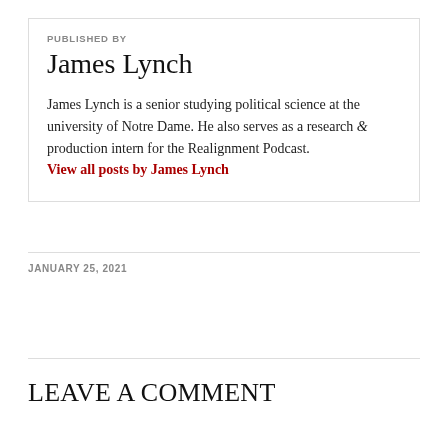PUBLISHED BY
James Lynch
James Lynch is a senior studying political science at the university of Notre Dame. He also serves as a research & production intern for the Realignment Podcast. View all posts by James Lynch
JANUARY 25, 2021
LEAVE A COMMENT